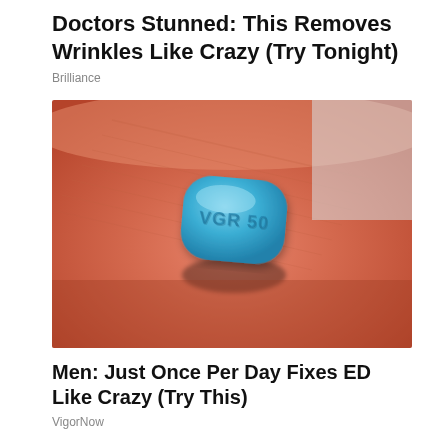Doctors Stunned: This Removes Wrinkles Like Crazy (Try Tonight)
Brilliance
[Figure (photo): Close-up photo of a blue diamond-shaped pill labeled VGR 50 resting on a human fingertip]
Men: Just Once Per Day Fixes ED Like Crazy (Try This)
VigorNow